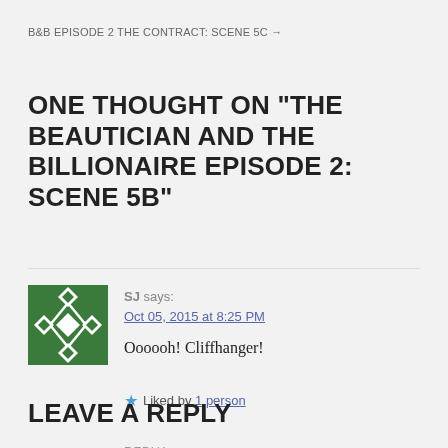B&B EPISODE 2 THE CONTRACT: SCENE 5C →
ONE THOUGHT ON “THE BEAUTICIAN AND THE BILLIONAIRE EPISODE 2: SCENE 5B”
SJ says:
Oct 05, 2015 at 8:25 PM
Oooooh! Cliffhanger!
Liked by 1 person
REPLY
LEAVE A REPLY